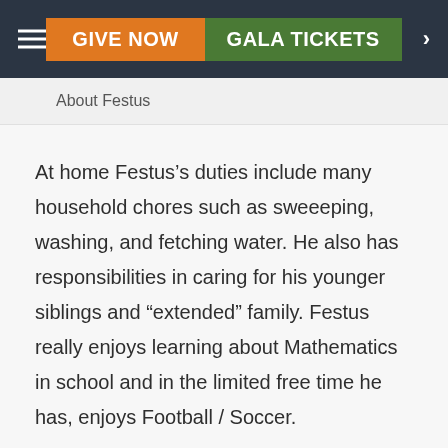GIVE NOW  GALA TICKETS
About Festus
At home Festus's duties include many household chores such as sweeeping, washing, and fetching water. He also has responsibilities in caring for his younger siblings and “extended” family. Festus really enjoys learning about Mathematics in school and in the limited free time he has, enjoys Football / Soccer.
Daily life for Festus and his